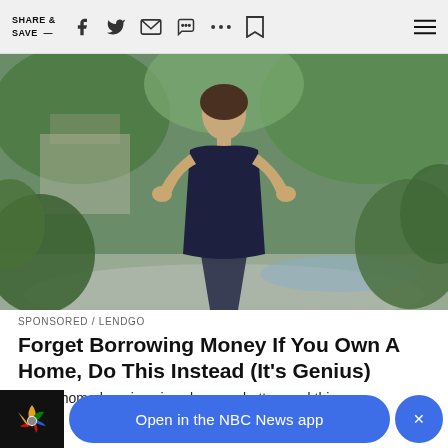SHARE & SAVE —
[Figure (photo): Person standing outdoors in a dark dress with hands on hips, surrounded by greenery and a light-colored pathway or pool area in the background]
SPONSORED / LENDGO
Forget Borrowing Money If You Own A Home, Do This Instead (It's Genius)
If your home has risen in value, you better read this.
Open in the NBC News app